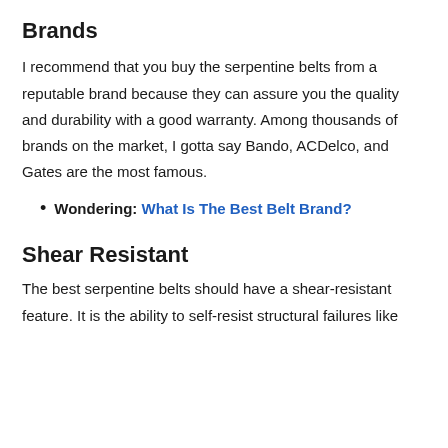Brands
I recommend that you buy the serpentine belts from a reputable brand because they can assure you the quality and durability with a good warranty. Among thousands of brands on the market, I gotta say Bando, ACDelco, and Gates are the most famous.
Wondering: What Is The Best Belt Brand?
Shear Resistant
The best serpentine belts should have a shear-resistant feature. It is the ability to self-resist structural failures like